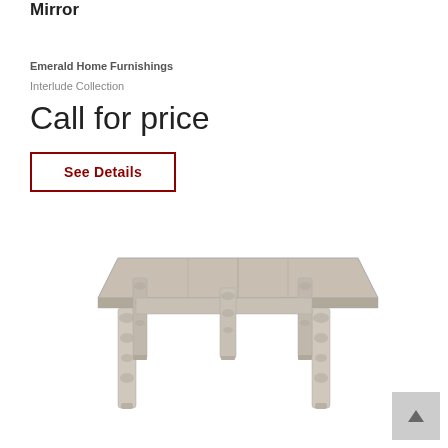Mirror
Emerald Home Furnishings
Interlude Collection
Call for price
See Details
[Figure (photo): A rectangular dining table with turned legs in a light grayish-white finish, shown from a slight angle.]